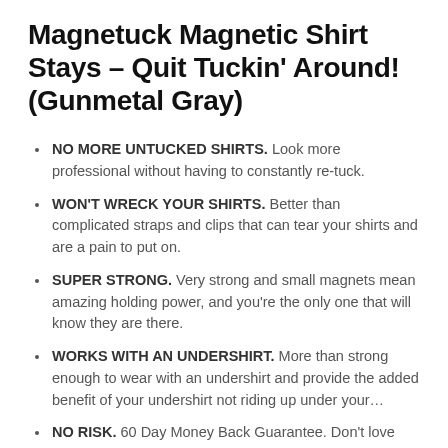Magnetuck Magnetic Shirt Stays – Quit Tuckin' Around! (Gunmetal Gray)
NO MORE UNTUCKED SHIRTS. Look more professional without having to constantly re-tuck.
WON'T WRECK YOUR SHIRTS. Better than complicated straps and clips that can tear your shirts and are a pain to put on.
SUPER STRONG. Very strong and small magnets mean amazing holding power, and you're the only one that will know they are there.
WORKS WITH AN UNDERSHIRT. More than strong enough to wear with an undershirt and provide the added benefit of your undershirt not riding up under your…
NO RISK. 60 Day Money Back Guarantee. Don't love